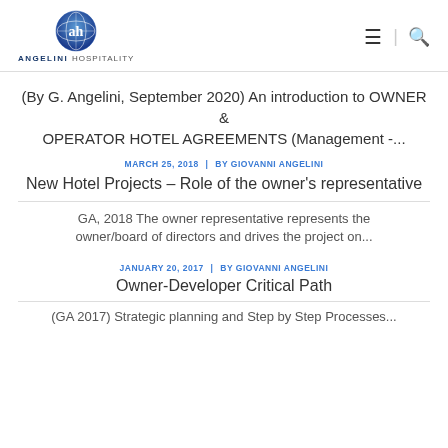ANGELINI HOSPITALITY
(By G. Angelini, September 2020) An introduction to OWNER & OPERATOR HOTEL AGREEMENTS (Management -...
MARCH 25, 2018 | BY GIOVANNI ANGELINI
New Hotel Projects – Role of the owner's representative
GA, 2018 The owner representative represents the owner/board of directors and drives the project on...
JANUARY 20, 2017 | BY GIOVANNI ANGELINI
Owner-Developer Critical Path
(GA 2017) Strategic planning and Step by Step Processes...